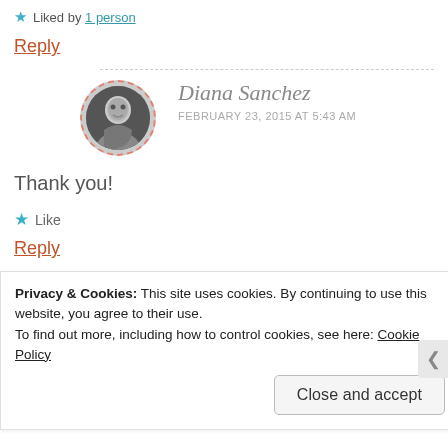★ Liked by 1 person
Reply
Diana Sanchez — FEBRUARY 23, 2015 AT 5:43 AM
Thank you!
★ Like
Reply
Privacy & Cookies: This site uses cookies. By continuing to use this website, you agree to their use.
To find out more, including how to control cookies, see here: Cookie Policy
Close and accept